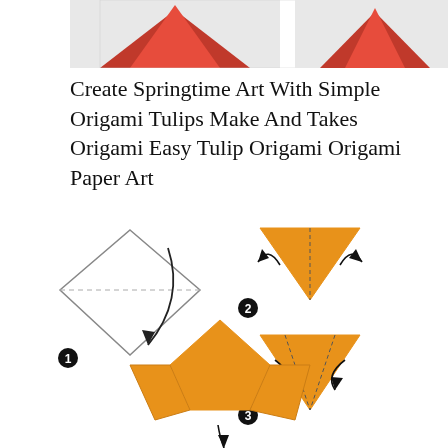[Figure (photo): Two photos of red origami tulips at the top of the page, partially cropped]
Create Springtime Art With Simple Origami Tulips Make And Takes Origami Easy Tulip Origami Origami Paper Art
[Figure (illustration): Step-by-step origami folding instructions showing 4 steps (numbered 1-3 visible): Step 1 shows a white diamond-shaped paper with a curved arrow; Step 2 shows an orange triangle with a dashed fold line and arrows pointing outward; Step 3 shows an orange triangle with dashed fold lines and arrows pointing inward; A fourth unlabeled step shows an orange folded shape like a tulip base with an arrow.]